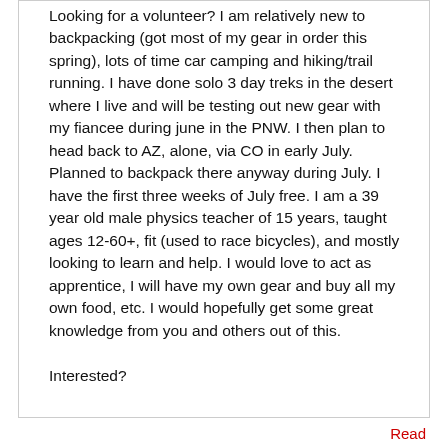Looking for a volunteer? I am relatively new to backpacking (got most of my gear in order this spring), lots of time car camping and hiking/trail running. I have done solo 3 day treks in the desert where I live and will be testing out new gear with my fiancee during june in the PNW. I then plan to head back to AZ, alone, via CO in early July. Planned to backpack there anyway during July. I have the first three weeks of July free. I am a 39 year old male physics teacher of 15 years, taught ages 12-60+, fit (used to race bicycles), and mostly looking to learn and help. I would love to act as apprentice, I will have my own gear and buy all my own food, etc. I would hopefully get some great knowledge from you and others out of this.

Interested?
Read